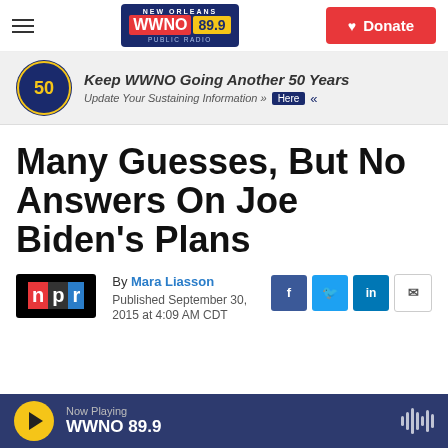WWNO 89.9 Public Radio — New Orleans
[Figure (screenshot): WWNO 50th anniversary banner ad: Keep WWNO Going Another 50 Years — Update Your Sustaining Information]
Many Guesses, But No Answers On Joe Biden's Plans
By Mara Liasson
Published September 30, 2015 at 4:09 AM CDT
Now Playing WWNO 89.9